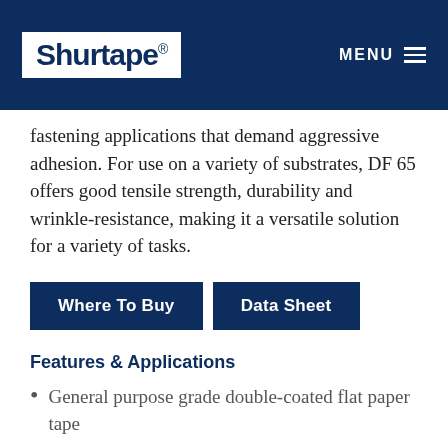Shurtape® MENU
fastening applications that demand aggressive adhesion. For use on a variety of substrates, DF 65 offers good tensile strength, durability and wrinkle-resistance, making it a versatile solution for a variety of tasks.
Where To Buy
Data Sheet
Features & Applications
General purpose grade double-coated flat paper tape